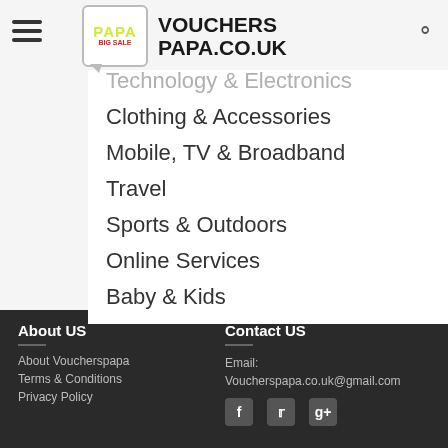[Figure (logo): VouchersPapa.co.uk logo with PAPA BIG SALE icon and site name]
Technology & Electronics
Clothing & Accessories
Mobile, TV & Broadband
Travel
Sports & Outdoors
Online Services
Baby & Kids
About US
About Voucherspapa
Terms & Conditions
Privacy Policy
Contact US
Email: Voucherspapa.co.uk@gmail.com